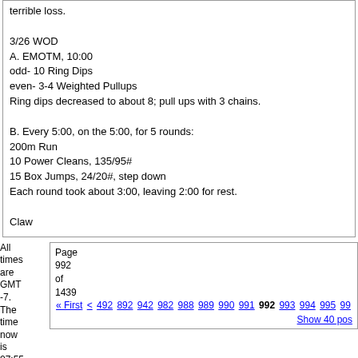terrible loss.

3/26 WOD
A. EMOTM, 10:00
odd- 10 Ring Dips
even- 3-4 Weighted Pullups
Ring dips decreased to about 8; pull ups with 3 chains.

B. Every 5:00, on the 5:00, for 5 rounds:
200m Run
10 Power Cleans, 135/95#
15 Box Jumps, 24/20#, step down
Each round took about 3:00, leaving 2:00 for rest.

Claw
All times are GMT -7. The time now is 07:55 PM.
Page 992 of 1439  « First  <  492  892  942  982  988  989  990  991  992  993  994  995  99...
Show 40 pos...
CrossFit is a registered trademark of CrossFit Inc.